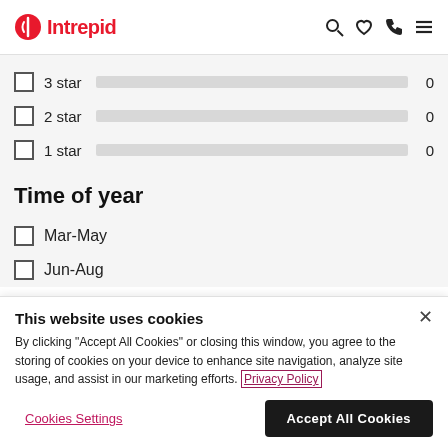Intrepid
3 star  0
2 star  0
1 star  0
Time of year
Mar-May
Jun-Aug
This website uses cookies
By clicking "Accept All Cookies" or closing this window, you agree to the storing of cookies on your device to enhance site navigation, analyze site usage, and assist in our marketing efforts. Privacy Policy
Cookies Settings   Accept All Cookies